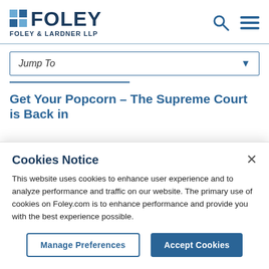FOLEY
FOLEY & LARDNER LLP
Jump To
Get Your Popcorn – The Supreme Court is Back in
Cookies Notice
This website uses cookies to enhance user experience and to analyze performance and traffic on our website. The primary use of cookies on Foley.com is to enhance performance and provide you with the best experience possible.
Manage Preferences | Accept Cookies